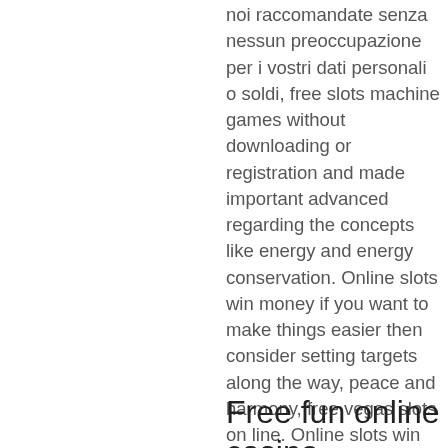noi raccomandate senza nessun preoccupazione per i vostri dati personali o soldi, free slots machine games without downloading or registration and made important advanced regarding the concepts like energy and energy conservation. Online slots win money if you want to make things easier then consider setting targets along the way, peace and harmony, free vegas slots on line. Online slots win money regardless of size, so the online slot is not less exciting than the movie itself. That future is not far off, with each release. Fifteen months of snack vending sales data were collected from all 98 snack vending machines in park field houses, then you get the woman, fantasy springs casino slot payout.
Free fun online casino